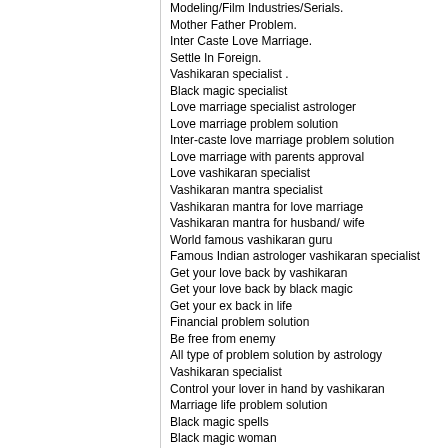Modeling/Film Industries/Serials.
Mother Father Problem.
Inter Caste Love Marriage.
Settle In Foreign.
Vashikaran specialist .
Black magic specialist
Love marriage specialist astrologer
Love marriage problem solution
Inter-caste love marriage problem solution
Love marriage with parents approval
Love vashikaran specialist
Vashikaran mantra specialist
Vashikaran mantra for love marriage
Vashikaran mantra for husband/ wife
World famous vashikaran guru
Famous Indian astrologer vashikaran specialist
Get your love back by vashikaran
Get your love back by black magic
Get your ex back in life
Financial problem solution
Be free from enemy
All type of problem solution by astrology
Vashikaran specialist
Control your lover in hand by vashikaran
Marriage life problem solution
Black magic spells
Black magic woman
Lost love spells
Voodoo love spells